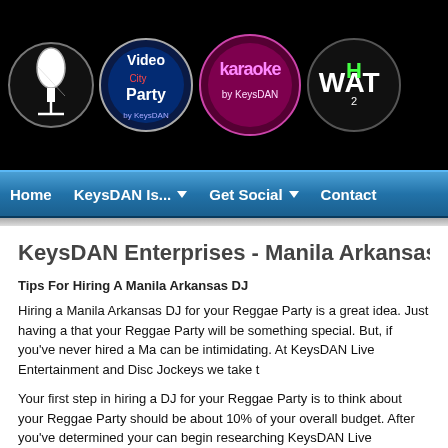[Figure (logo): Header banner with four circular logos on black background: microphone/DJ logo, Video City Party logo, Karaoke by KeysDAN logo, and What2 logo]
Home  KeysDAN Is...  Get Social  Contact
KeysDAN Enterprises - Manila Arkansas Reggae Party
Tips For Hiring A Manila Arkansas DJ
Hiring a Manila Arkansas DJ for your Reggae Party is a great idea. Just having a that your Reggae Party will be something special. But, if you've never hired a Ma can be intimidating. At KeysDAN Live Entertainment and Disc Jockeys we take t
Your first step in hiring a DJ for your Reggae Party is to think about your Reggae Party should be about 10% of your overall budget. After you've determined your can begin researching KeysDAN Live Entertainment and Disc Jockeys' Manila A viewing their profiles and sampling video, audio and more.
Your next step is to determine what sort of mood or vibe you want for your Regg Party DJ to keep everyone on the dance floor? Do you want a DJ to help create mood? Make sure to talk to potential Manila Arkansas Reggae Party DJs and ge hopes for your Reggae Party with the Manila Arkansas Reggae Party DJ before